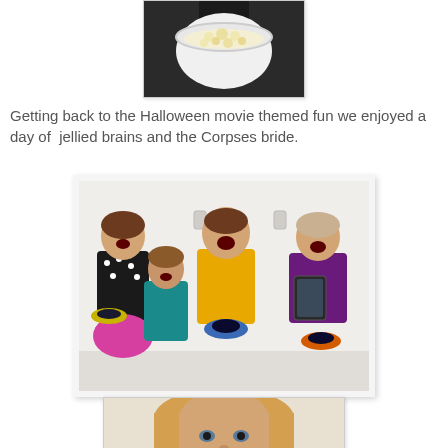[Figure (photo): Top-down view of a person holding a white bowl filled with popcorn, photographed from above on a dark background.]
Getting back to the Halloween movie themed fun we enjoyed a day of  jellied brains and the Corpses bride.
[Figure (photo): Four children standing against a white wall. From left: a girl in a black polka-dot top and pink skirt holding a yellow plate with a dark item; a smaller girl in teal; a boy in a yellow shirt holding a blue plate with a dark item; a girl in purple/dark top holding a tablet and an orange plate. All have open mouths in excited/scared expressions.]
[Figure (photo): Close-up of a child's face with blonde hair, partially cropped at the bottom of the page.]